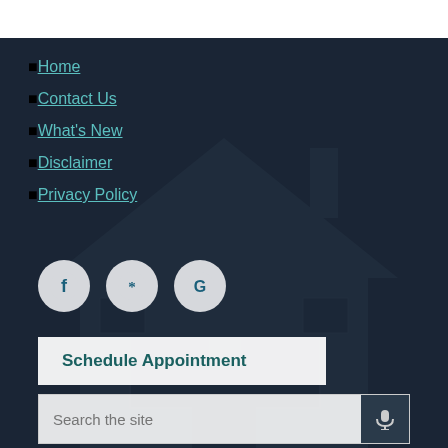Home
Contact Us
What's New
Disclaimer
Privacy Policy
[Figure (infographic): Social media icons: Facebook, Yelp, Google — circular gray buttons]
Schedule Appointment
Search the site